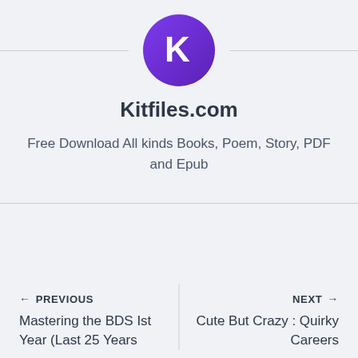[Figure (logo): Kitfiles.com circular logo with white K letter on purple gradient background]
Kitfiles.com
Free Download All kinds Books, Poem, Story, PDF and Epub
← PREVIOUS
Mastering the BDS Ist Year (Last 25 Years
NEXT →
Cute But Crazy : Quirky Careers